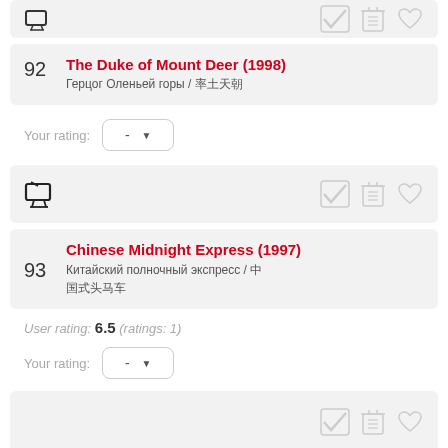[Figure (screenshot): Top partial card with TV icon on left and three action icons (checkmark, trash, heart) on right - grayed out]
92 The Duke of Mount Deer (1998) / Герцог Оленьей горы / ХХХ
Your rating: -
[Figure (screenshot): Card with TV icon on left and three action icons (checkmark, trash, heart) on right]
93 Chinese Midnight Express (1997) / Китайский полночный экспресс / Х ХХХХХХХХ
User rating: 6.5 (ratings: 1)
Your rating: -